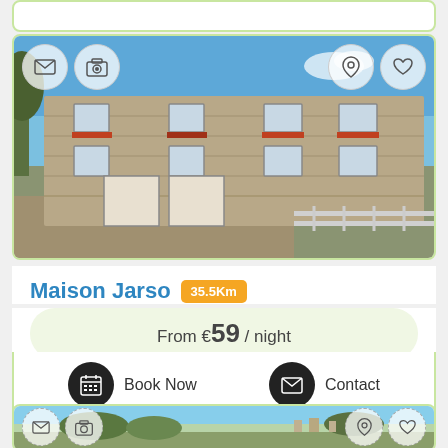[Figure (screenshot): Top partial card - end of previous listing]
[Figure (photo): Stone farmhouse with blue sky - Maison Jarso listing photo with action icons overlay]
Maison Jarso 35.5Km
From €59 / night
Book Now
Contact
[Figure (photo): Partial bottom listing card showing countryside panorama]